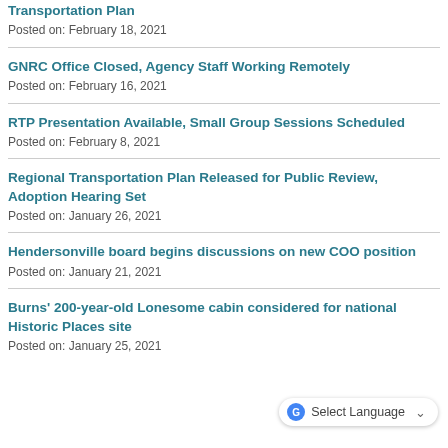Transportation Plan
Posted on: February 18, 2021
GNRC Office Closed, Agency Staff Working Remotely
Posted on: February 16, 2021
RTP Presentation Available, Small Group Sessions Scheduled
Posted on: February 8, 2021
Regional Transportation Plan Released for Public Review, Adoption Hearing Set
Posted on: January 26, 2021
Hendersonville board begins discussions on new COO position
Posted on: January 21, 2021
Burns' 200-year-old Lonesome cabin considered for national Historic Places site
Posted on: January 25, 2021